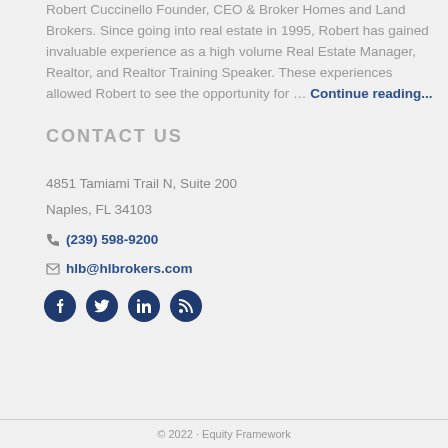Robert Cuccinello Founder, CEO & Broker Homes and Land Brokers. Since going into real estate in 1995, Robert has gained invaluable experience as a high volume Real Estate Manager, Realtor, and Realtor Training Speaker. These experiences allowed Robert to see the opportunity for … Continue reading...
CONTACT US
4851 Tamiami Trail N, Suite 200
Naples, FL 34103
(239) 598-9200
hlb@hlbrokers.com
[Figure (other): Social media icons: Facebook, Twitter, LinkedIn, RSS feed]
© 2022 · Equity Framework